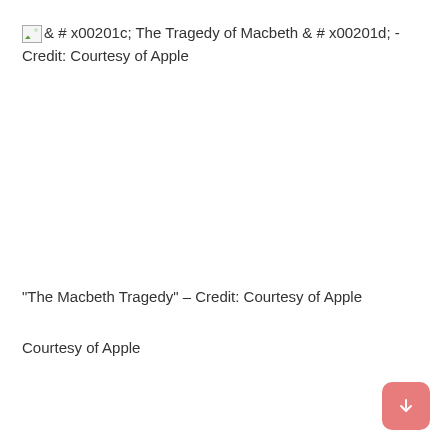[broken image] & # x00201c; The Tragedy of Macbeth & # x00201d; - Credit: Courtesy of Apple
[Figure (photo): Large blank/missing image area in the center of the page]
“The Macbeth Tragedy” – Credit: Courtesy of Apple
Courtesy of Apple